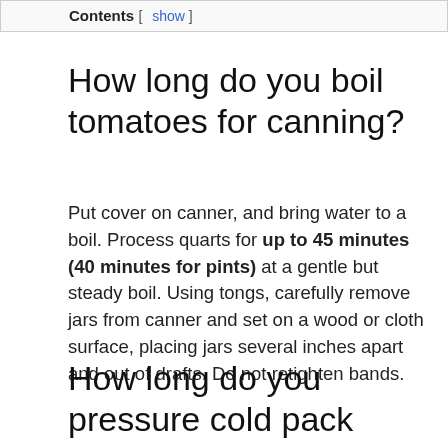Contents [ show ]
How long do you boil tomatoes for canning?
Put cover on canner, and bring water to a boil. Process quarts for up to 45 minutes (40 minutes for pints) at a gentle but steady boil. Using tongs, carefully remove jars from canner and set on a wood or cloth surface, placing jars several inches apart and out of drafts. Do not retighten bands.
How long do you pressure cold pack tomatoes?